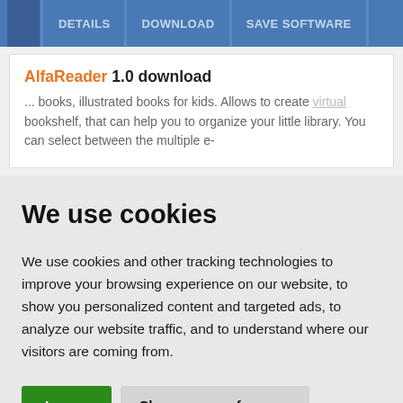DETAILS  DOWNLOAD  SAVE SOFTWARE
AlfaReader 1.0 download
... books, illustrated books for kids. Allows to create virtual bookshelf, that can help you to organize your little library. You can select between the multiple e-
We use cookies
We use cookies and other tracking technologies to improve your browsing experience on our website, to show you personalized content and targeted ads, to analyze our website traffic, and to understand where our visitors are coming from.
I agree  Change my preferences